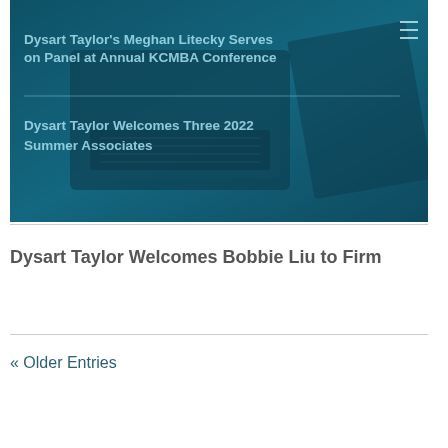[Figure (photo): Blue-tinted image of laptops on a desk with two overlaid news headlines about Dysart Taylor law firm.]
Dysart Taylor Welcomes Bobbie Liu to Firm
« Older Entries